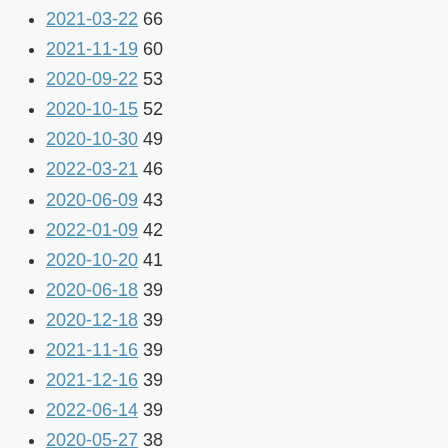2021-03-22 66
2021-11-19 60
2020-09-22 53
2020-10-15 52
2020-10-30 49
2022-03-21 46
2020-06-09 43
2022-01-09 42
2020-10-20 41
2020-06-18 39
2020-12-18 39
2021-11-16 39
2021-12-16 39
2022-06-14 39
2020-05-27 38
2020-12-30 38
2020-10-09 37
2022-03-19 37
2021-11-20 36